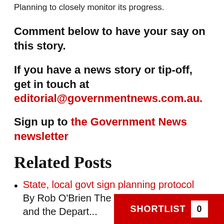Planning to closely monitor its progress.
Comment below to have your say on this story.
If you have a news story or tip-off, get in touch at editorial@governmentnews.com.au.
Sign up to the Government News newsletter
Related Posts
State, local govt sign planning protocol
By Rob O'Brien The Local Government and the Department...